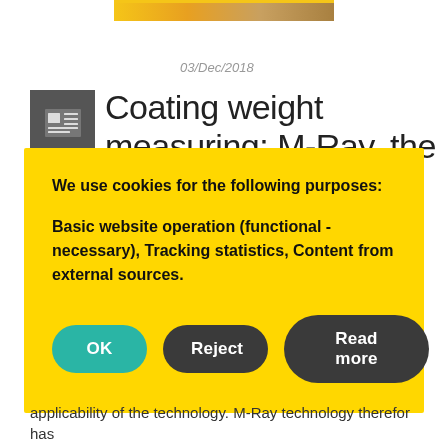[Figure (photo): Top partial banner image showing yellow and orange tones, cropped at top of page]
03/Dec/2018
[Figure (illustration): Dark grey square icon box with a newspaper/article icon (lines representing text columns)]
Coating weight measuring: M-Ray, the
We use cookies for the following purposes:
Basic website operation (functional - necessary), Tracking statistics, Content from external sources.
OK  Reject  Read more
applicability of the technology. M-Ray technology therefor has